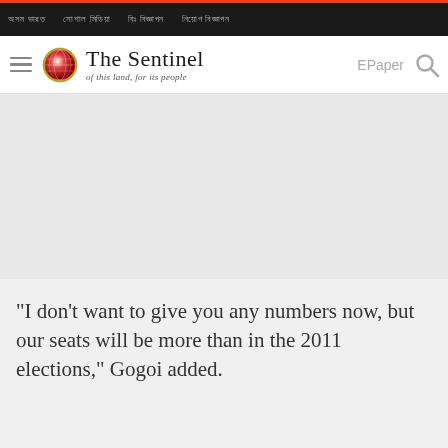The Sentinel – of this land, for its people
"I don't want to give you any numbers now, but our seats will be more than in the 2011 elections," Gogoi added.